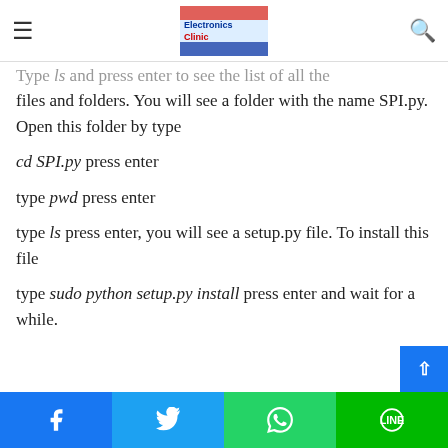Electronics Clinic - navigation header
press enter and wait for a while.
Type ls and press enter to see the list of all the files and folders. You will see a folder with the name SPI.py. Open this folder by type
cd SPI.py press enter
type pwd press enter
type ls press enter, you will see a setup.py file. To install this file
type sudo python setup.py install press enter and wait for a while.
Facebook | Twitter | WhatsApp | Line social share buttons